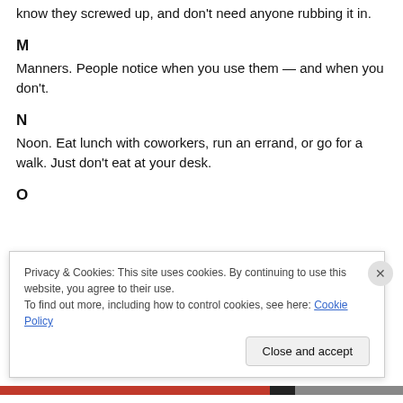know they screwed up, and don't need anyone rubbing it in.
M
Manners. People notice when you use them — and when you don't.
N
Noon. Eat lunch with coworkers, run an errand, or go for a walk. Just don't eat at your desk.
O
Privacy & Cookies: This site uses cookies. By continuing to use this website, you agree to their use.
To find out more, including how to control cookies, see here: Cookie Policy